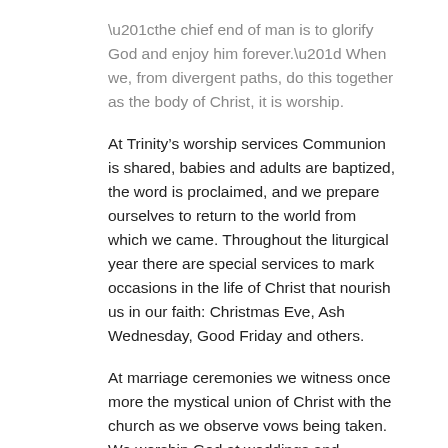“the chief end of man is to glorify God and enjoy him forever.” When we, from divergent paths, do this together as the body of Christ, it is worship.
At Trinity’s worship services Communion is shared, babies and adults are baptized, the word is proclaimed, and we prepare ourselves to return to the world from which we came. Throughout the liturgical year there are special services to mark occasions in the life of Christ that nourish us in our faith: Christmas Eve, Ash Wednesday, Good Friday and others.
At marriage ceremonies we witness once more the mystical union of Christ with the church as we observe vows being taken. We worship God at weddings and funerals because we know that God, true to the promise to be where two or three are gathered, is with us in our times of joy and our times of grief. So we glorify God for the resurrection and